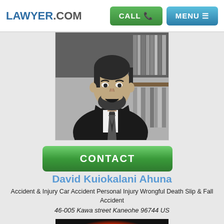LAWYER.COM | CALL | MENU
[Figure (photo): Black and white portrait photo of David Kuiokalani Ahuna, a man with a beard wearing a suit and tie, standing in front of bookshelves filled with law books]
CONTACT
David Kuiokalani Ahuna
Accident & Injury Car Accident Personal Injury Wrongful Death Slip & Fall Accident
46-005 Kawa street Kaneohe 96744 US
[Figure (logo): Colorful logo with scales of justice imagery in black, yellow, orange, and red flame colors]